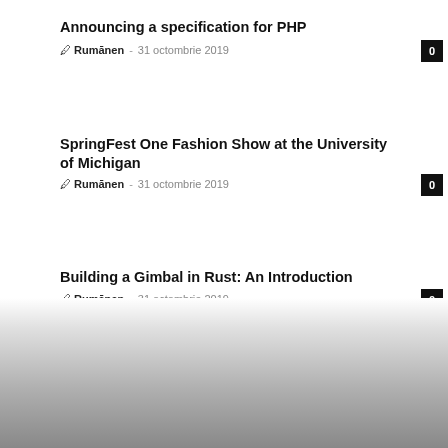Announcing a specification for PHP
Rumānen  -  31 octombrie 2019
SpringFest One Fashion Show at the University of Michigan
Rumānen  -  31 octombrie 2019
Building a Gimbal in Rust: An Introduction
Rumānen  -  31 octombrie 2019
[Figure (illustration): Gradient faded image at bottom of page, light gray to dark gray gradient]